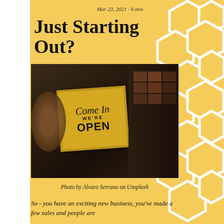Mar 23, 2021 · 6 min
Just Starting Out?
[Figure (photo): A yellow 'Come In WE'RE OPEN' sign hanging in a shop window, with blurred background showing shelves and merchandise]
Photo by Álvaro Serrano on Unsplash
So - you have an exciting new business, you've made a few sales and people are